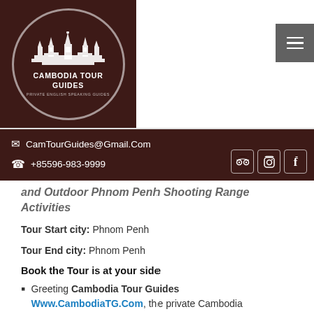[Figure (logo): Cambodia Tour Guides logo: white temple/Angkor Wat silhouette inside a circle on dark brown background, with text 'CAMBODIA TOUR GUIDES' and 'PRIVATE ENGLISH SPEAKING GUIDES']
CamTourGuides@Gmail.Com
+85596-983-9999
and Outdoor Phnom Penh Shooting Range Activities
Tour Start city: Phnom Penh
Tour End city: Phnom Penh
Book the Tour is at your side
Greeting Cambodia Tour Guides Www.CambodiaTG.Com, the private Cambodia